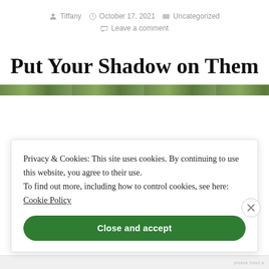Tiffany  October 17, 2021  Uncategorized  Leave a comment
Put Your Shadow on Them
Privacy & Cookies: This site uses cookies. By continuing to use this website, you agree to their use.
To find out more, including how to control cookies, see here: Cookie Policy
Close and accept